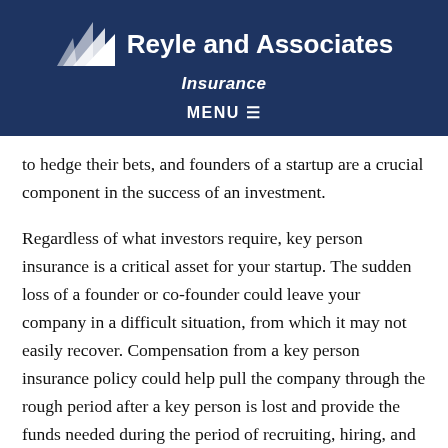Reyle and Associates Insurance
to hedge their bets, and founders of a startup are a crucial component in the success of an investment.
Regardless of what investors require, key person insurance is a critical asset for your startup. The sudden loss of a founder or co-founder could leave your company in a difficult situation, from which it may not easily recover. Compensation from a key person insurance policy could help pull the company through the rough period after a key person is lost and provide the funds needed during the period of recruiting, hiring, and